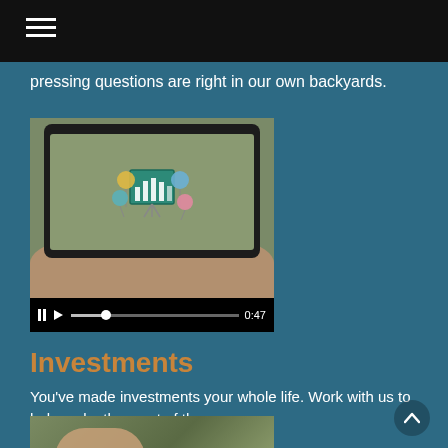pressing questions are right in our own backyards.
[Figure (screenshot): Video player showing a smartphone screen with an infographic/chart animation. Controls show pause, play, progress bar, and timestamp 0:47]
Investments
You've made investments your whole life. Work with us to help make the most of them.
[Figure (photo): Partial view of hands holding a tablet device, photographed outdoors]